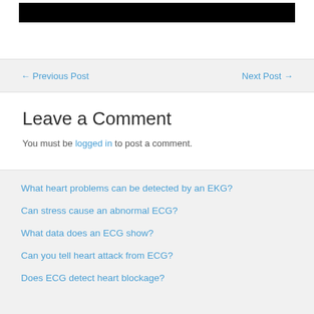[Figure (photo): Black banner/image bar at the top of the page]
← Previous Post
Next Post →
Leave a Comment
You must be logged in to post a comment.
What heart problems can be detected by an EKG?
Can stress cause an abnormal ECG?
What data does an ECG show?
Can you tell heart attack from ECG?
Does ECG detect heart blockage?